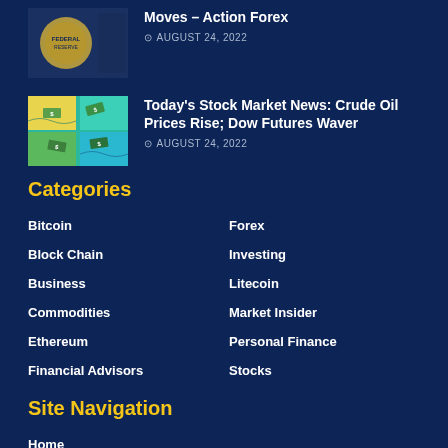[Figure (photo): Partial thumbnail image of a coin/currency — Federal Reserve seal visible, dark blue tones]
Moves – Action Forex
AUGUST 24, 2022
[Figure (illustration): Colorful illustration with teal/green/yellow patterns and dollar bills floating, stock market themed]
Today's Stock Market News: Crude Oil Prices Rise; Dow Futures Waver
AUGUST 24, 2022
Categories
Bitcoin
Forex
Block Chain
Investing
Business
Litecoin
Commodities
Market Insider
Ethereum
Personal Finance
Financial Advisors
Stocks
Site Navigation
Home
Contact Us